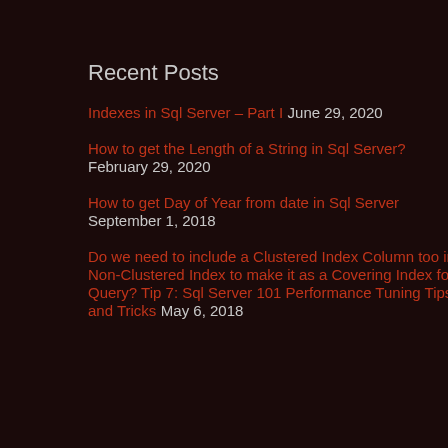Recent Posts
Indexes in Sql Server – Part I  June 29, 2020
How to get the Length of a String in Sql Server?  February 29, 2020
How to get Day of Year from date in Sql Server  September 1, 2018
Do we need to include a Clustered Index Column too in a Non-Clustered Index to make it as a Covering Index for a Query? Tip 7: Sql Server 101 Performance Tuning Tips and Tricks  May 6, 2018